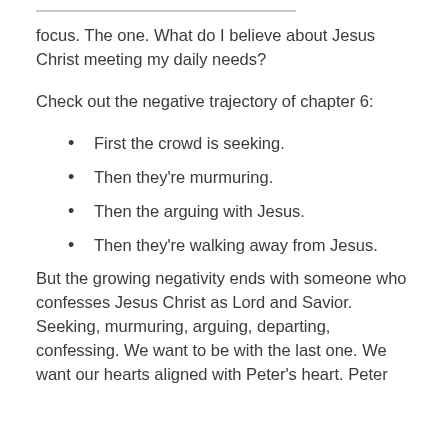focus. The one. What do I believe about Jesus Christ meeting my daily needs?
Check out the negative trajectory of chapter 6:
First the crowd is seeking.
Then they're murmuring.
Then the arguing with Jesus.
Then they're walking away from Jesus.
But the growing negativity ends with someone who confesses Jesus Christ as Lord and Savior. Seeking, murmuring, arguing, departing, confessing. We want to be with the last one. We want our hearts aligned with Peter's heart. Peter